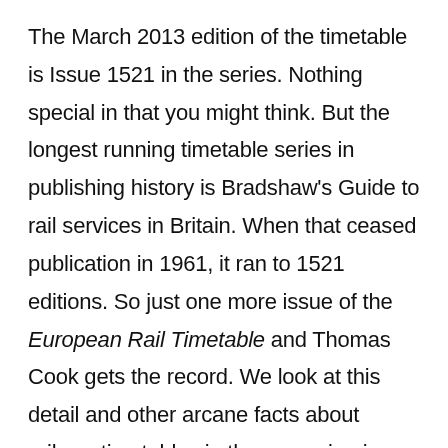The March 2013 edition of the timetable is Issue 1521 in the series. Nothing special in that you might think. But the longest running timetable series in publishing history is Bradshaw's Guide to rail services in Britain. When that ceased publication in 1961, it ran to 1521 editions. So just one more issue of the European Rail Timetable and Thomas Cook gets the record. We look at this detail and other arcane facts about railway timetables in the upcoming issue of hidden europe magazine — which will be